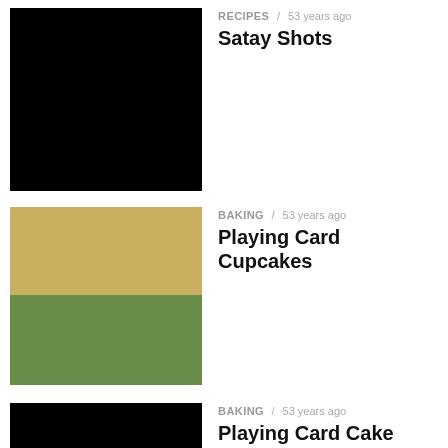RECIPES / 53 years ago — Satay Shots
BAKING / 53 years ago — Playing Card Cupcakes
BAKING / 53 years ago — Playing Card Cake Pops
RECIPES / 53 years ago — Stilton and Chutney Rarebit Bites
RECIPES / 53 years ago — Poker Chip Cookies